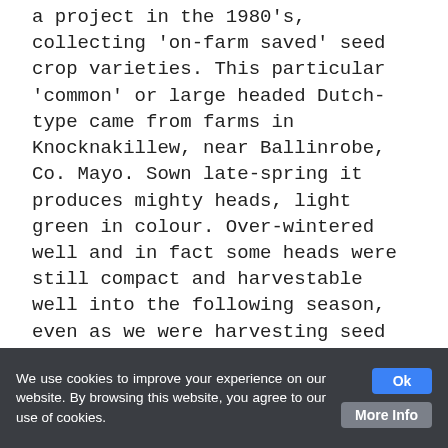a project in the 1980's, collecting 'on-farm saved' seed crop varieties. This particular 'common' or large headed Dutch-type came from farms in Knocknakillew, near Ballinrobe, Co. Mayo. Sown late-spring it produces mighty heads, light green in colour. Over-wintered well and in fact some heads were still compact and harvestable well into the following season, even as we were harvesting seed from neighbouring plants. Very useful genetic diversity! Certified Organic
🛒 Add to cart    ☰ Details
We use cookies to improve your experience on our website. By browsing this website, you agree to our use of cookies.